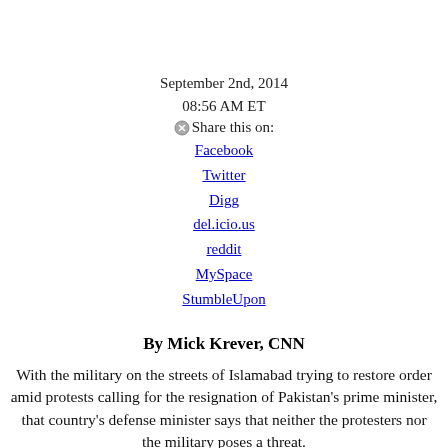September 2nd, 2014
08:56 AM ET
Share this on:
Facebook
Twitter
Digg
del.icio.us
reddit
MySpace
StumbleUpon
By Mick Krever, CNN
With the military on the streets of Islamabad trying to restore order amid protests calling for the resignation of Pakistan's prime minister, that country's defense minister says that neither the protesters nor the military poses a threat.
“There is absolutely no threat,” Khawaja Asif told CNN’s Michael Holmes, in for Christiane Amanpour, on Monday. “The government was never under threat. It's just a perception. We still